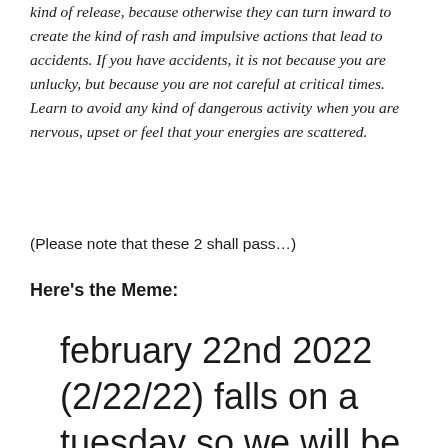kind of release, because otherwise they can turn inward to create the kind of rash and impulsive actions that lead to accidents. If you have accidents, it is not because you are unlucky, but because you are not careful at critical times. Learn to avoid any kind of dangerous activity when you are nervous, upset or feel that your energies are scattered.
(Please note that these 2 shall pass…)
Here's the Meme:
february 22nd 2022 (2/22/22) falls on a tuesday so we will be able to call it 2's day which is